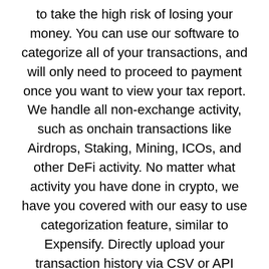to take the high risk of losing your money. You can use our software to categorize all of your transactions, and will only need to proceed to payment once you want to view your tax report. We handle all non-exchange activity, such as onchain transactions like Airdrops, Staking, Mining, ICOs, and other DeFi activity. No matter what activity you have done in crypto, we have you covered with our easy to use categorization feature, similar to Expensify. Directly upload your transaction history via CSV or API integrations. We support hundreds of exchanges, blockchains, and wallets.
When you reply to any offer on LocalBitcoins, a trade is opened and escrow protection is